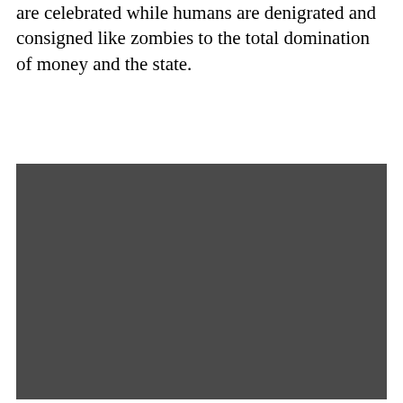are celebrated while humans are denigrated and consigned like zombies to the total domination of money and the state.
[Figure (photo): A large dark gray/charcoal colored rectangular image occupying the lower portion of the page.]